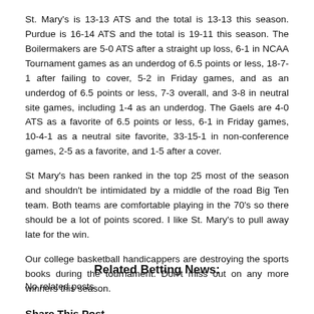St. Mary's is 13-13 ATS and the total is 13-13 this season. Purdue is 16-14 ATS and the total is 19-11 this season. The Boilermakers are 5-0 ATS after a straight up loss, 6-1 in NCAA Tournament games as an underdog of 6.5 points or less, 18-7-1 after failing to cover, 5-2 in Friday games, and as an underdog of 6.5 points or less, 7-3 overall, and 3-8 in neutral site games, including 1-4 as an underdog. The Gaels are 4-0 ATS as a favorite of 6.5 points or less, 6-1 in Friday games, 10-4-1 as a neutral site favorite, 33-15-1 in non-conference games, 2-5 as a favorite, and 1-5 after a cover.
St Mary’s has been ranked in the top 25 most of the season and shouldn’t be intimidated by a middle of the road Big Ten team. Both teams are comfortable playing in the 70’s so there should be a lot of points scored. I like St. Mary’s to pull away late for the win.
Our college basketball handicappers are destroying the sports books during the tournament. Don’t miss out on any more winners this season.
Share This Post
Related Betting News:
No related posts.